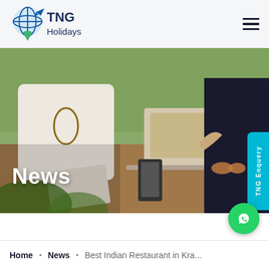[Figure (logo): TNG Holidays logo with globe/map pin icon and airplane]
[Figure (photo): People working on laptops at an outdoor table, travel planning scene]
News
TNG Enquery
[Figure (logo): WhatsApp icon button (green circle with phone/chat icon)]
Home • News • Best Indian Restaurant in Kra...